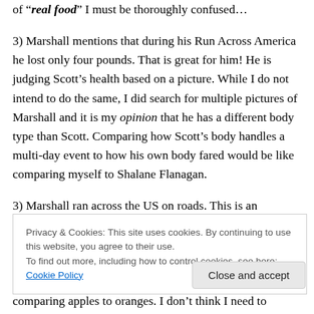of “real food” I must be thoroughly confused…
3) Marshall mentions that during his Run Across America he lost only four pounds. That is great for him! He is judging Scott’s health based on a picture. While I do not intend to do the same, I did search for multiple pictures of Marshall and it is my opinion that he has a different body type than Scott. Comparing how Scott’s body handles a multi-day event to how his own body fared would be like comparing myself to Shalane Flanagan.
3) Marshall ran across the US on roads. This is an
Privacy & Cookies: This site uses cookies. By continuing to use this website, you agree to their use.
To find out more, including how to control cookies, see here: Cookie Policy
Close and accept
comparing apples to oranges. I don’t think I need to